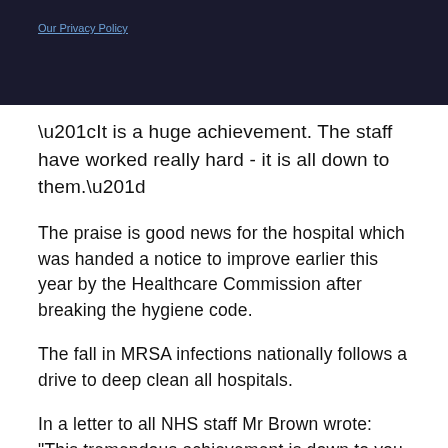[Figure (screenshot): Dark navigation/header bar with privacy policy link]
“It is a huge achievement. The staff have worked really hard - it is all down to them.”
The praise is good news for the hospital which was handed a notice to improve earlier this year by the Healthcare Commission after breaking the hygiene code.
The fall in MRSA infections nationally follows a drive to deep clean all hospitals.
In a letter to all NHS staff Mr Brown wrote: "This tremendous achievement is down to you, the staff of the NHS, and I wanted to write to thank you on behalf